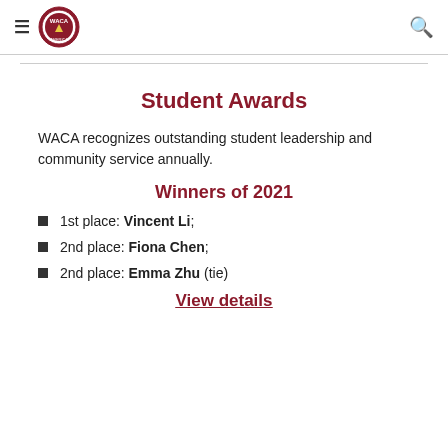WACA navigation header with hamburger menu, WACA logo, and search icon
Student Awards
WACA recognizes outstanding student leadership and community service annually.
Winners of 2021
1st place: Vincent Li;
2nd place: Fiona Chen;
2nd place: Emma Zhu (tie)
View details